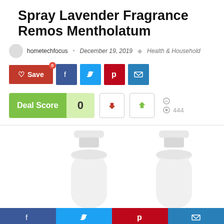Spray Lavender Fragrance Remos Mentholatum
hometechfocus • December 19, 2019 ◆ Health & Household
[Figure (screenshot): Social sharing buttons: Save (heart icon, red), Facebook (blue), Twitter (light blue), Pinterest (red), Email (blue)]
[Figure (screenshot): Deal Score widget showing 0, thumbs down button, thumbs up button, comment icon, eye icon with 444 views]
[Figure (photo): Two white spray bottles (nasal spray) side by side on white background]
[Figure (screenshot): Bottom share bar with Facebook, Twitter, Pinterest, Email icons]